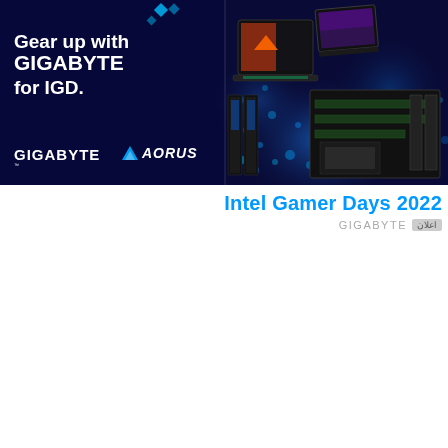[Figure (illustration): GIGABYTE advertisement banner for Intel Gamer Days 2022. Left side: dark navy background with white text 'Gear up with GIGABYTE for IGD.' and GIGABYTE and AORUS logos at bottom. Right side: gaming laptops, motherboard, and RAM on a blue particle/bokeh background.]
Intel Gamer Days 2022
اعلان GIGABYTE